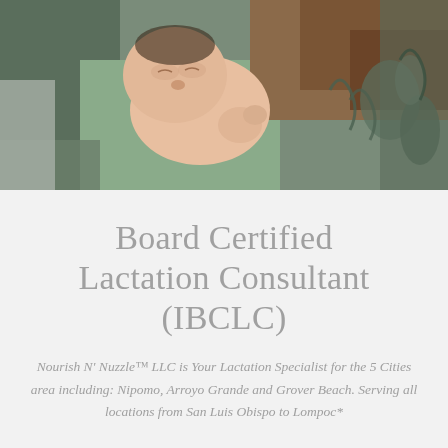[Figure (photo): Newborn baby sleeping peacefully on a green and brown textured blanket/wrap, photographed from above in a newborn portrait style.]
Board Certified Lactation Consultant (IBCLC)
Nourish N' Nuzzle™ LLC is Your Lactation Specialist for the 5 Cities area including: Nipomo, Arroyo Grande and Grover Beach. Serving all locations from San Luis Obispo to Lompoc*